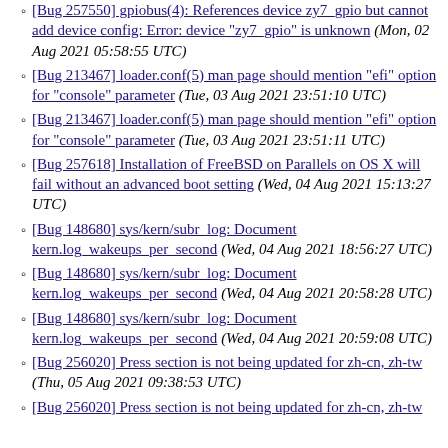[Bug 257550] gpiobus(4): References device zy7_gpio but cannot add device config: Error: device "zy7_gpio" is unknown (Mon, 02 Aug 2021 05:58:55 UTC)
[Bug 213467] loader.conf(5) man page should mention "efi" option for "console" parameter (Tue, 03 Aug 2021 23:51:10 UTC)
[Bug 213467] loader.conf(5) man page should mention "efi" option for "console" parameter (Tue, 03 Aug 2021 23:51:11 UTC)
[Bug 257618] Installation of FreeBSD on Parallels on OS X will fail without an advanced boot setting (Wed, 04 Aug 2021 15:13:27 UTC)
[Bug 148680] sys/kern/subr_log: Document kern.log_wakeups_per_second (Wed, 04 Aug 2021 18:56:27 UTC)
[Bug 148680] sys/kern/subr_log: Document kern.log_wakeups_per_second (Wed, 04 Aug 2021 20:58:28 UTC)
[Bug 148680] sys/kern/subr_log: Document kern.log_wakeups_per_second (Wed, 04 Aug 2021 20:59:08 UTC)
[Bug 256020] Press section is not being updated for zh-cn, zh-tw (Thu, 05 Aug 2021 09:38:53 UTC)
[Bug 256020] Press section is not being updated for zh-cn, zh-tw